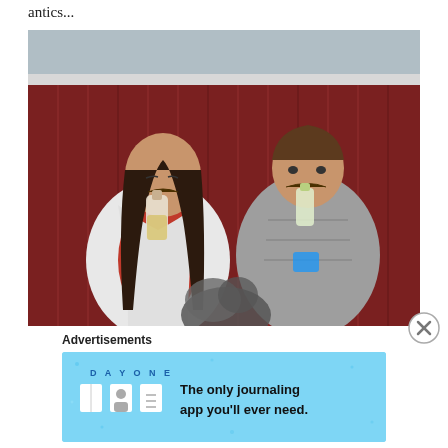antics...
[Figure (photo): Two young women standing against a red corrugated metal wall, both holding bottles up to their mouths with fake mustaches attached, making silly faces. One wears a white jacket over a red shirt, the other wears a gray puffer jacket. There is a dark fluffy object (possibly a dog) in the foreground bottom center.]
Advertisements
[Figure (other): Advertisement banner for Day One journaling app with light blue background, showing 'DAY ONE' text with icons of a book, person, and notepad, and text 'The only journaling app you'll ever need.']